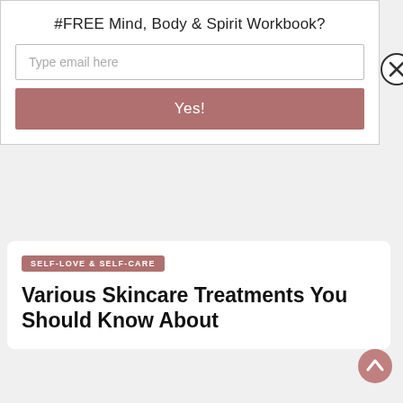#FREE Mind, Body & Spirit Workbook?
Type email here
Yes!
SELF-LOVE & SELF-CARE
Various Skincare Treatments You Should Know About
JULY 14, 2022
[Figure (photo): Woman with dark hair looking down, photographed against a gray background]